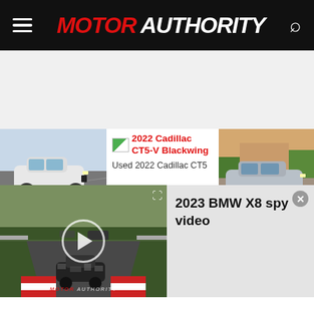MOTOR AUTHORITY
[Figure (screenshot): Motor Authority website screenshot showing navigation header with hamburger menu, Motor Authority logo (MOTOR in red, AUTHORITY in white on black background), and search icon]
[Figure (photo): White BMW sedan on a racetrack]
[Figure (photo): 2022 Cadillac CT5-V Blackwing thumbnail image placeholder]
2022 Cadillac CT5-V Blackwing
Used 2022 Cadillac CT5
[Figure (photo): Silver Mercedes-Benz sedan on a driveway with palm trees]
[Figure (screenshot): Video player showing 2023 BMW X8 spy video on a racetrack (Nurburgring), with play button overlay and Motor Authority watermark]
2023 BMW X8 spy video